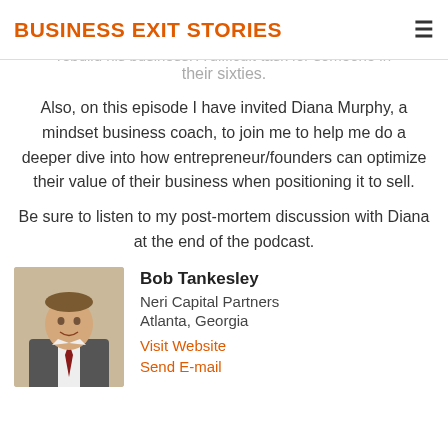BUSINESS EXIT STORIES
circumstances. Although the business survived, it is a difficult task for an entrepreneur/founder and rebuild his business. A difficult task for someone in their sixties.
Also, on this episode I have invited Diana Murphy, a mindset business coach, to join me to help me do a deeper dive into how entrepreneur/founders can optimize their value of their business when positioning it to sell.
Be sure to listen to my post-mortem discussion with Diana at the end of the podcast.
[Figure (photo): Headshot photo of Bob Tankesley, a man in a suit]
Bob Tankesley
Neri Capital Partners
Atlanta, Georgia
Visit Website
Send E-mail